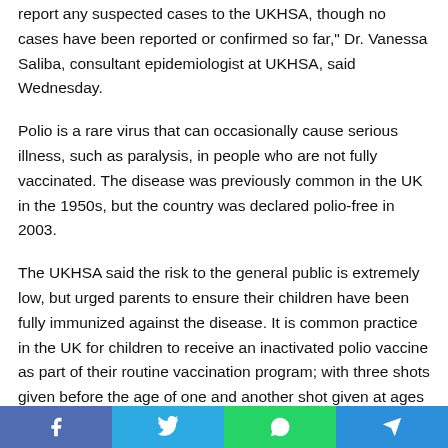report any suspected cases to the UKHSA, though no cases have been reported or confirmed so far," Dr. Vanessa Saliba, consultant epidemiologist at UKHSA, said Wednesday.
Polio is a rare virus that can occasionally cause serious illness, such as paralysis, in people who are not fully vaccinated. The disease was previously common in the UK in the 1950s, but the country was declared polio-free in 2003.
The UKHSA said the risk to the general public is extremely low, but urged parents to ensure their children have been fully immunized against the disease. It is common practice in the UK for children to receive an inactivated polio vaccine as part of their routine vaccination program; with three shots given before the age of one and another shot given at ages three and 14.